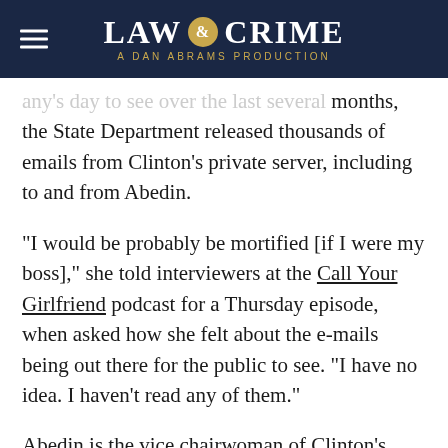LAW & CRIME — A DAN ABRAMS PRODUCTION
...over the last several months, the State Department released thousands of emails from Clinton’s private server, including to and from Abedin.
“I would be probably be mortified [if I were my boss],” she told interviewers at the Call Your Girlfriend podcast for a Thursday episode, when asked how she felt about the e-mails being out there for the public to see. “I have no idea. I haven’t read any of them.”
Abedin is the vice chairwoman of Clinton’s presidential campaign. Politico called her “deeply...